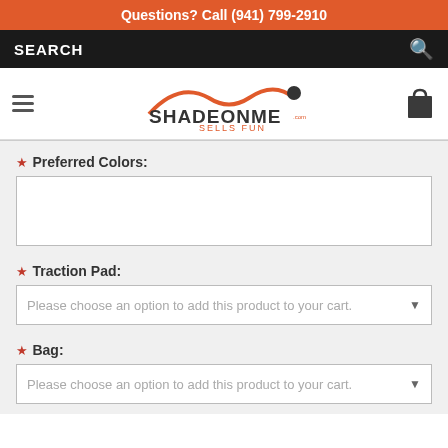Questions? Call (941) 799-2910
SEARCH
[Figure (logo): ShadeonMe.com Sells Fun logo with orange arc design]
* Preferred Colors:
* Traction Pad:
Please choose an option to add this product to your cart.
* Bag:
Please choose an option to add this product to your cart.